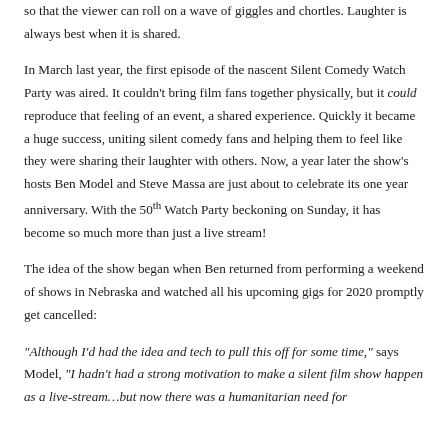so that the viewer can roll on a wave of giggles and chortles. Laughter is always best when it is shared.
In March last year, the first episode of the nascent Silent Comedy Watch Party was aired. It couldn't bring film fans together physically, but it could reproduce that feeling of an event, a shared experience. Quickly it became a huge success, uniting silent comedy fans and helping them to feel like they were sharing their laughter with others. Now, a year later the show's hosts Ben Model and Steve Massa are just about to celebrate its one year anniversary. With the 50th Watch Party beckoning on Sunday, it has become so much more than just a live stream!
The idea of the show began when Ben returned from performing a weekend of shows in Nebraska and watched all his upcoming gigs for 2020 promptly get cancelled:
"Although I'd had the idea and tech to pull this off for some time," says Model, "I hadn't had a strong motivation to make a silent film show happen as a live-stream…but now there was a humanitarian need for